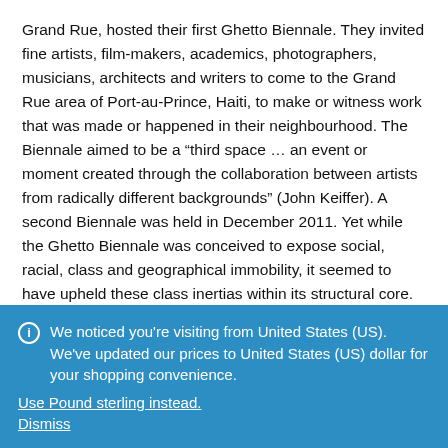Grand Rue, hosted their first Ghetto Biennale. They invited fine artists, film-makers, academics, photographers, musicians, architects and writers to come to the Grand Rue area of Port-au-Prince, Haiti, to make or witness work that was made or happened in their neighbourhood. The Biennale aimed to be a “third space … an event or moment created through the collaboration between artists from radically different backgrounds” (John Keiffer). A second Biennale was held in December 2011. Yet while the Ghetto Biennale was conceived to expose social, racial, class and geographical immobility, it seemed to have upheld these class inertias within its structural core.
In this seminar, Leah Gordon, co-founder of the Ghetto
We noticed you're visiting from United States (US). We've updated our prices to United States (US) dollar for your shopping convenience. Use Pound sterling instead. Dismiss